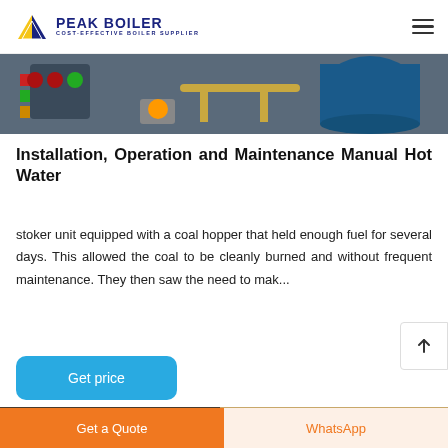PEAK BOILER — COST-EFFECTIVE BOILER SUPPLIER
[Figure (photo): Industrial boiler equipment with gauges and piping visible in a workshop setting]
Installation, Operation and Maintenance Manual Hot Water
stoker unit equipped with a coal hopper that held enough fuel for several days. This allowed the coal to be cleanly burned and without frequent maintenance. They then saw the need to mak...
Get price
[Figure (photo): Workers or technicians visible in a workshop or installation setting]
Get a Quote
WhatsApp